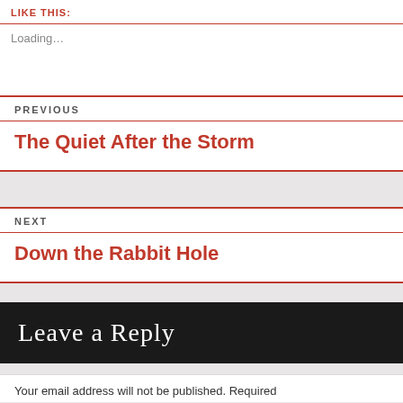LIKE THIS:
Loading...
PREVIOUS
The Quiet After the Storm
NEXT
Down the Rabbit Hole
Leave a Reply
Your email address will not be published. Required